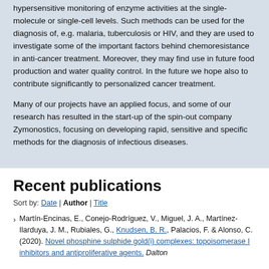hypersensitive monitoring of enzyme activities at the single-molecule or single-cell levels. Such methods can be used for the diagnosis of, e.g. malaria, tuberculosis or HIV, and they are used to investigate some of the important factors behind chemoresistance in anti-cancer treatment. Moreover, they may find use in future food production and water quality control. In the future we hope also to contribute significantly to personalized cancer treatment.
Many of our projects have an applied focus, and some of our research has resulted in the start-up of the spin-out company Zymonostics, focusing on developing rapid, sensitive and specific methods for the diagnosis of infectious diseases.
Recent publications
Sort by: Date | Author | Title
Martín-Encinas, E., Conejo-Rodríguez, V., Miguel, J. A., Martínez-Ilarduya, J. M., Rubiales, G., Knudsen, B. R., Palacios, F. & Alonso, C. (2020). Novel phosphine sulphide gold(i) complexes: topoisomerase I inhibitors and antiproliferative agents. Dalton